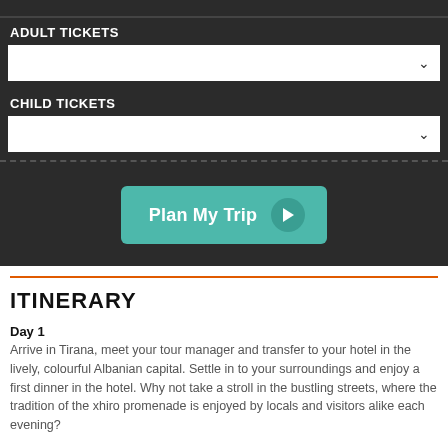ADULT TICKETS
CHILD TICKETS
Plan My Trip
ITINERARY
Day 1
Arrive in Tirana, meet your tour manager and transfer to your hotel in the lively, colourful Albanian capital. Settle in to your surroundings and enjoy a first dinner in the hotel. Why not take a stroll in the bustling streets, where the tradition of the xhiro promenade is enjoyed by locals and visitors alike each evening?
Day 2